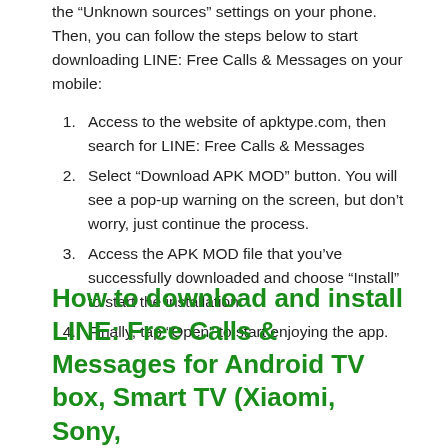the "Unknown sources" settings on your phone. Then, you can follow the steps below to start downloading LINE: Free Calls & Messages on your mobile:
Access to the website of apktype.com, then search for LINE: Free Calls & Messages
Select “Download APK MOD” button. You will see a pop-up warning on the screen, but don’t worry, just continue the process.
Access the APK MOD file that you’ve successfully downloaded and choose “Install” to start the installation.
Finally, tap “Open” to start enjoying the app.
How to download and install LINE: Free Calls & Messages for Android TV box, Smart TV (Xiaomi, Sony,